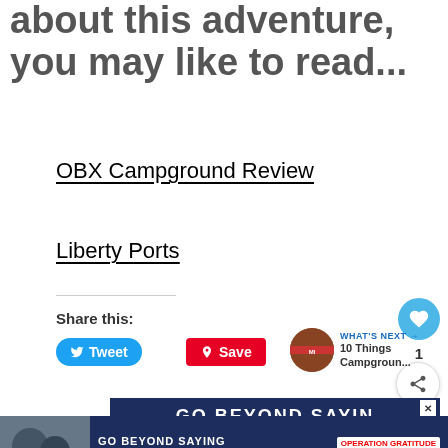about this adventure, you may like to read...
OBX Campground Review
Liberty Ports
Share this:
Tweet
Save
WHAT'S NEXT → 10 Things Campgroun...
[Figure (infographic): GO BEYOND SAYING THANK YOU - Operation Gratitude advertisement banner with photo of people and logo]